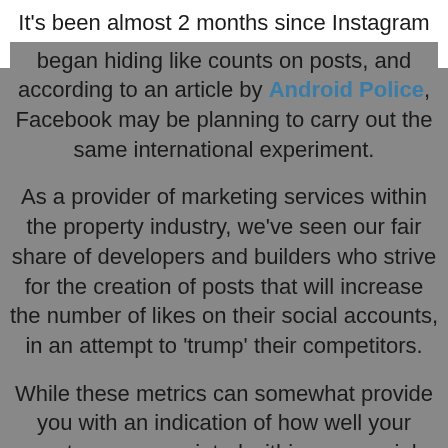It's been almost 2 months since Instagram began hiding like counts on posts, and according to an article by Android Police, Facebook may be planning to carry out the same international experiment.

As a provider of marketing services within the property industry, we've seen our fair share of developers and builders who strive for the creation of posts that will increase the number of likes on their social accounts, in an attempt to 'trump' their competitors.

While these metrics can somewhat provide you with an indication of how well your posts are appreciated within your social community, they don't measure your ability to provide an incredible